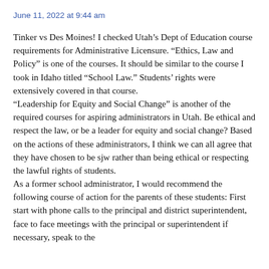June 11, 2022 at 9:44 am
Tinker vs Des Moines! I checked Utah’s Dept of Education course requirements for Administrative Licensure. “Ethics, Law and Policy” is one of the courses. It should be similar to the course I took in Idaho titled “School Law.” Students’ rights were extensively covered in that course.
“Leadership for Equity and Social Change” is another of the required courses for aspiring administrators in Utah. Be ethical and respect the law, or be a leader for equity and social change? Based on the actions of these administrators, I think we can all agree that they have chosen to be sjw rather than being ethical or respecting the lawful rights of students.
As a former school administrator, I would recommend the following course of action for the parents of these students: First start with phone calls to the principal and district superintendent, face to face meetings with the principal or superintendent if necessary, speak to the